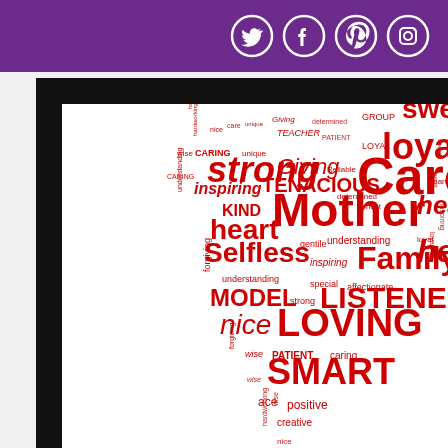Social media header bar with Twitter, Facebook, Pinterest, and Instagram icons
[Figure (illustration): A word cloud in the shape of a heart, composed of words in various shades of red on a white background, displayed inside a black frame. Words include: sweet, loyal, Care, Mother, Family, healer, heart, KIND, Giving, TENACIOUS, strong, inspiring, CARING, wise, Selfless, MODEL, nice, LOVING, LISTENER, SMART, PATIENT, caring, wise, positive, creative, nice, ace, special, understanding, gentle, inspiring, forgiving, hardworking, unique, care, nice, determined, LOYAL, Reliable, TEACHER, GROUP, smart, honest, loyal, inspiring, sweet, strong, forgiving, forgiving, wise, hardworking]